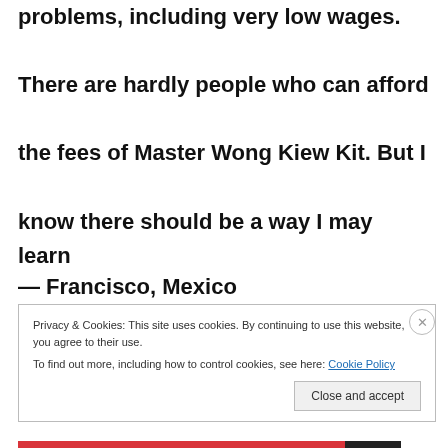problems, including very low wages. There are hardly people who can afford the fees of Master Wong Kiew Kit. But I know there should be a way I may learn form the master.
— Francisco, Mexico
Privacy & Cookies: This site uses cookies. By continuing to use this website, you agree to their use. To find out more, including how to control cookies, see here: Cookie Policy